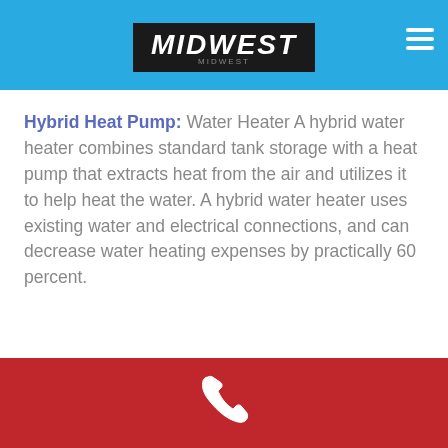MIDWEST
Hybrid Heat Pump: Water Heater A hybrid water heater combines standard tank storage with a heat pump that extracts heat from the air and utilizes it to help heat the water. A hybrid water heater uses existing water and electrical connections, and can decrease water heating expenses by practically 60 percent.
[Figure (logo): Red footer bar with white telephone/phone icon]